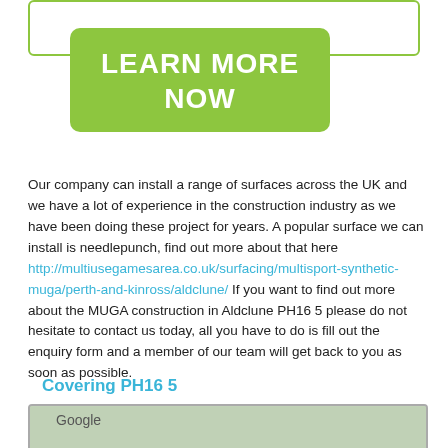[Figure (other): Green 'LEARN MORE NOW' button with rounded corners on top of a white bordered box]
Our company can install a range of surfaces across the UK and we have a lot of experience in the construction industry as we have been doing these project for years. A popular surface we can install is needlepunch, find out more about that here http://multiusegamesarea.co.uk/surfacing/multisport-synthetic-muga/perth-and-kinross/aldclune/ If you want to find out more about the MUGA construction in Aldclune PH16 5 please do not hesitate to contact us today, all you have to do is fill out the enquiry form and a member of our team will get back to you as soon as possible.
Covering PH16 5
[Figure (map): Google map showing PH16 5 area]